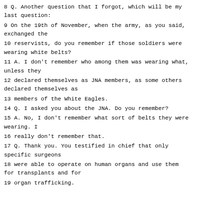8 Q. Another question that I forgot, which will be my last question:
9 On the 19th of November, when the army, as you said, exchanged the
10 reservists, do you remember if those soldiers were wearing white belts?
11 A. I don't remember who among them was wearing what, unless they
12 declared themselves as JNA members, as some others declared themselves as
13 members of the White Eagles.
14 Q. I asked you about the JNA. Do you remember?
15 A. No, I don't remember what sort of belts they were wearing. I
16 really don't remember that.
17 Q. Thank you. You testified in chief that only specific surgeons
18 were able to operate on human organs and use them for transplants and for
19 organ trafficking.